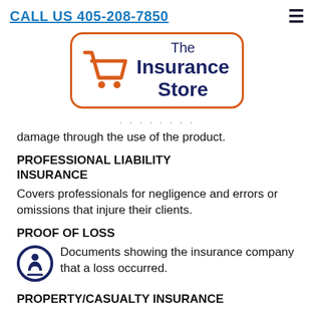CALL US 405-208-7850
[Figure (logo): The Insurance Store logo with shopping cart icon inside an orange rounded rectangle border, with dark blue text reading 'The Insurance Store']
damage through the use of the product.
PROFESSIONAL LIABILITY INSURANCE
Covers professionals for negligence and errors or omissions that injure their clients.
PROOF OF LOSS
Documents showing the insurance company that a loss occurred.
PROPERTY/CASUALTY INSURANCE